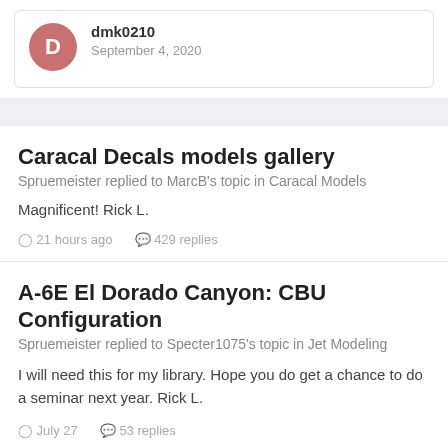dmk0210
September 4, 2020
Caracal Decals models gallery
Spruemeister replied to MarcB's topic in Caracal Models
Magnificent! Rick L.
21 hours ago   429 replies
A-6E El Dorado Canyon: CBU Configuration
Spruemeister replied to Specter1075's topic in Jet Modeling
I will need this for my library. Hope you do get a chance to do a seminar next year. Rick L.
July 27   53 replies